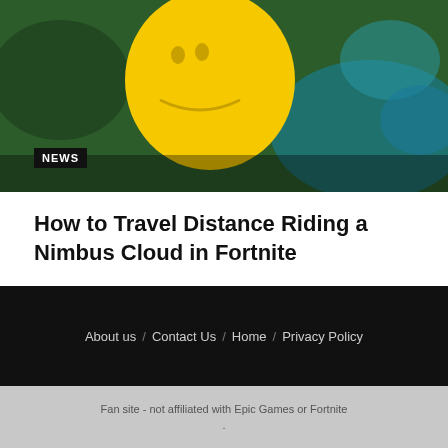[Figure (photo): Screenshot from Fortnite Dragon Ball crossover showing a yellow character (Nimbus Cloud related) with dark and teal background]
NEWS
How to Travel Distance Riding a Nimbus Cloud in Fortnite
Here's how to complete the Dragon Ball Power Unleashed "travel distance riding a Nimbus Cloud" Fortnite quest. The Fortnite...
BY YOUSEF SAIFI  AUGUST 16, 2022
About us / Contact Us / Home / Privacy Policy
Fan site - not affiliated with Epic Games or Fortnite .